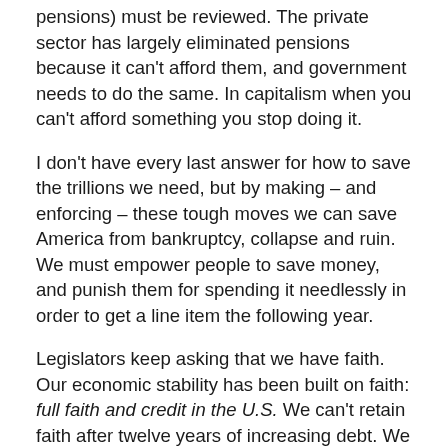pensions) must be reviewed. The private sector has largely eliminated pensions because it can't afford them, and government needs to do the same. In capitalism when you can't afford something you stop doing it.
I don't have every last answer for how to save the trillions we need, but by making – and enforcing – these tough moves we can save America from bankruptcy, collapse and ruin. We must empower people to save money, and punish them for spending it needlessly in order to get a line item the following year.
Legislators keep asking that we have faith. Our economic stability has been built on faith: full faith and credit in the U.S. We can't retain faith after twelve years of increasing debt. We need to deal with hard facts and run America like a business. Business is not about faith. It's about trusting